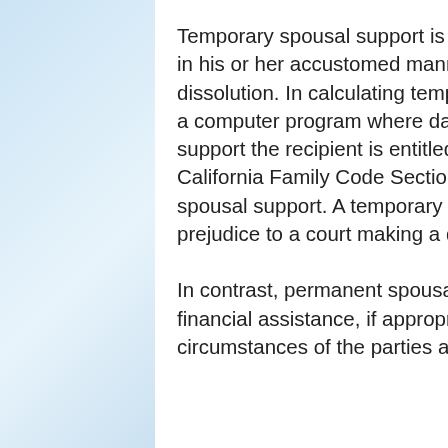Temporary spousal support is intended to enable the recipient to live in his or her accustomed manner pending the outcome of the dissolution.  In calculating temporary spousal support the court will use a computer program where data is imputed to show how much support the recipient is entitled to.  The court does not consider the California Family Code Section 4320 when calculating temporary spousal support.  A temporary spousal support order is made without prejudice to a court making a different order for permanent support.
In contrast, permanent spousal support is intended “to provide financial assistance, if appropriate, as determined by the financial circumstances of the parties after their